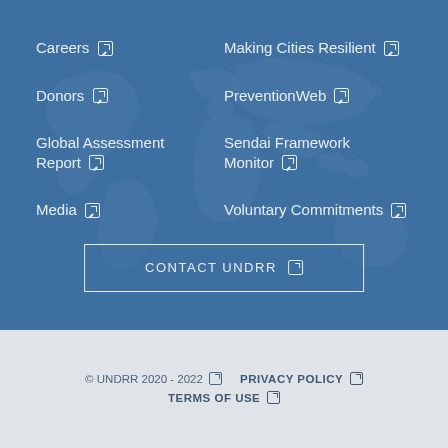Careers ↗
Making Cities Resilient ↗
Donors ↗
PreventionWeb ↗
Global Assessment Report ↗
Sendai Framework Monitor ↗
Media ↗
Voluntary Commitments ↗
CONTACT UNDRR ↗
© UNDRR 2020 - 2022 ↗   PRIVACY POLICY ↗   TERMS OF USE ↗